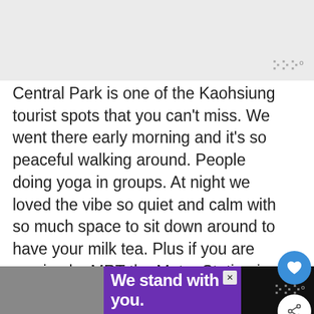[Figure (photo): Light gray placeholder image at top of page with a watermark symbol in the bottom-right corner]
Central Park is one of the Kaohsiung tourist spots that you can’t miss. We went there early morning and it’s so peaceful walking around. People doing yoga in groups. At night we loved the vibe so quiet and calm with so much space to sit down around to have your milk tea. Plus if you are coming by MRT the Metro Station is so beautiful with a small waterfall on it.
ADVERTISEMENT
[Figure (photo): What’s Next thumbnail showing a colorful travel scene with arrow and text ‘A Perfect 2 Days...’]
We stand with you.